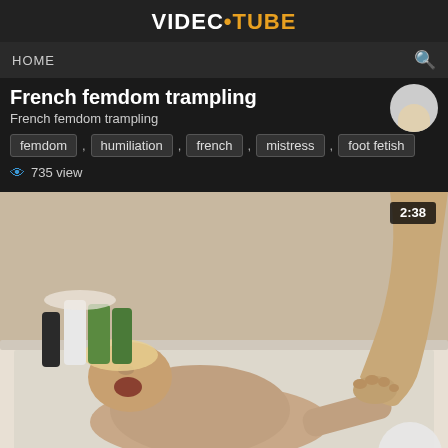VIDEC•TUBE
HOME
French femdom trampling
French femdom trampling
femdom , humiliation , french , mistress , foot fetish
735 view
[Figure (screenshot): Video thumbnail showing a man lying in a bathtub with a foot visible from above, duration badge showing 2:38 in top right corner]